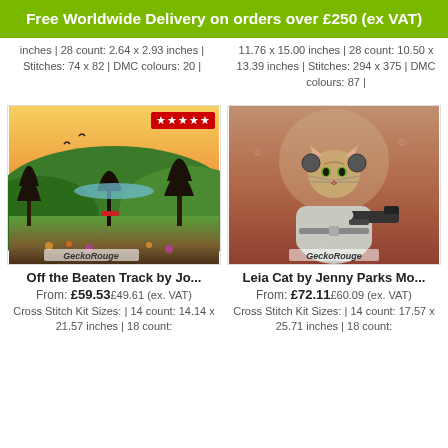Free Worldwide Delivery on orders over £250 (ex VAT)
inches | 28 count: 2.64 x 2.93 inches | Stitches: 74 x 82 | DMC colours: 20 |
11.76 x 15.00 inches | 28 count: 10.50 x 13.39 inches | Stitches: 294 x 375 | DMC colours: 87 |
[Figure (photo): Cross stitch kit product image: Off the Beaten Track landscape scene with trees and birds, GeckoRouge branded, 5-star rating badge]
[Figure (photo): Cross stitch kit product image: Leia Cat by Jenny Parks - a cat dressed as Princess Leia holding a blaster, GeckoRouge branded]
Off the Beaten Track by Jo...
Leia Cat by Jenny Parks Mo...
From: £59.53 £49.61 (ex. VAT)
From: £72.11 £60.09 (ex. VAT)
Cross Stitch Kit Sizes: | 14 count: 14.14 x 21.57 inches | 18 count:
Cross Stitch Kit Sizes: | 14 count: 17.57 x 25.71 inches | 18 count: